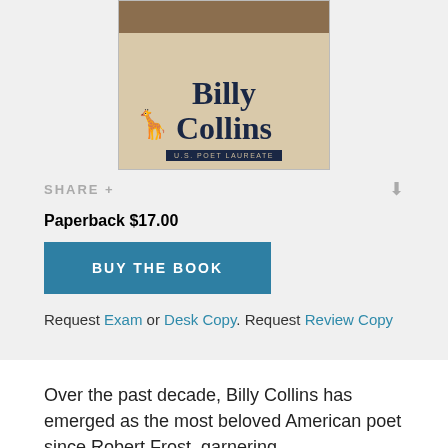[Figure (photo): Book cover showing 'Billy Collins' in large serif type with 'U.S. Poet Laureate' subtitle on a beige/tan background with a dark top bar and animal silhouette]
SHARE +
Paperback $17.00
BUY THE BOOK
Request Exam or Desk Copy. Request Review Copy
Over the past decade, Billy Collins has emerged as the most beloved American poet since Robert Frost, garnering